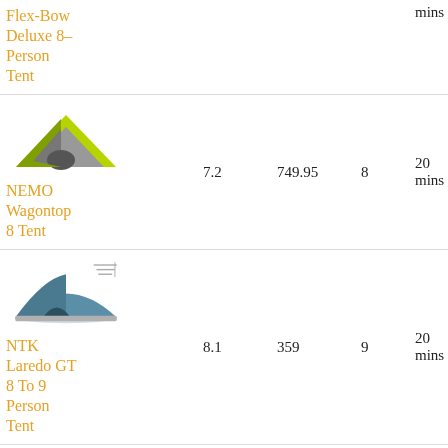| Product | Rating | Price | Capacity | Setup Time | Type |
| --- | --- | --- | --- | --- | --- |
| Flex-Bow Deluxe 8-Person Tent |  |  |  | mins | Cabin |
| NEMO Wagontop 8 Tent | 7.2 | 749.95 | 8 | 20 mins | Tunnel |
| NTK Laredo GT 8 To 9 Person Tent | 8.1 | 359 | 9 | 20 mins | Dome |
| [partial row with image] |  |  |  |  |  |